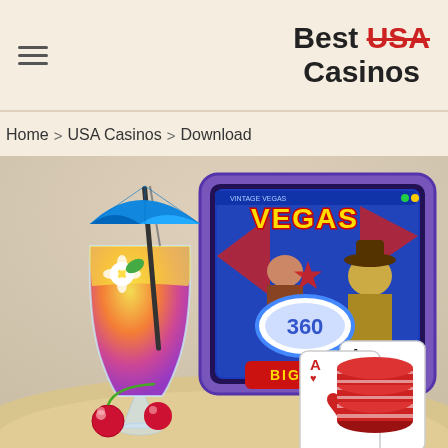Best USA Casinos
Home > USA Casinos > Download
[Figure (illustration): Casino-themed illustration showing a tropical cocktail with umbrella and cherry, a tablet displaying a Vegas slot machine game with 'BIG WIN' and '360' on screen, playing cards showing Aces with spades, and a stack of red casino chips, all set on a sandy beach background.]